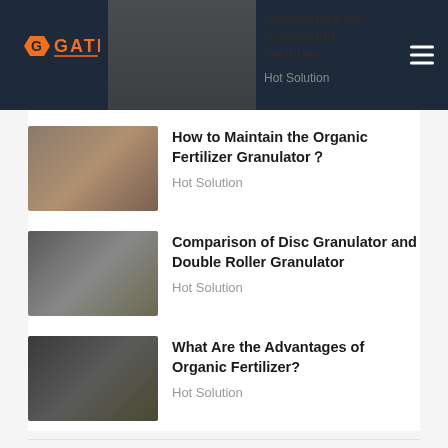Granulators for Compound Fertilizer | Hot Solution
How to Maintain the Organic Fertilizer Granulator？ | Hot Solution
Comparison of Disc Granulator and Double Roller Granulator | Hot Solution
What Are the Advantages of Organic Fertilizer? | Hot Solution
Post Catgories